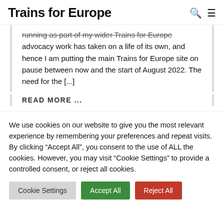Trains for Europe
running as part of my wider Trains for Europe advocacy work has taken on a life of its own, and hence I am putting the main Trains for Europe site on pause between now and the start of August 2022. The need for the [...]
READ MORE ...
We use cookies on our website to give you the most relevant experience by remembering your preferences and repeat visits. By clicking “Accept All”, you consent to the use of ALL the cookies. However, you may visit “Cookie Settings” to provide a controlled consent, or reject all cookies.
Cookie Settings | Accept All | Reject All